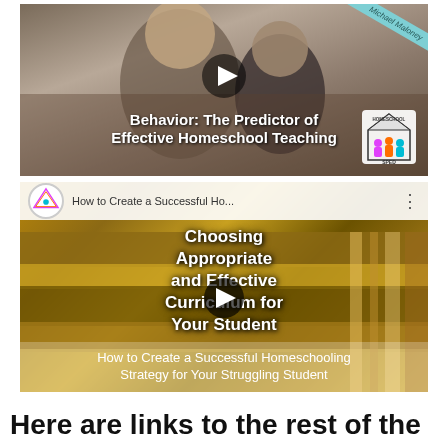[Figure (screenshot): Video thumbnail showing a woman and child smiling together outdoors. Title overlay reads 'Behavior: The Predictor of Effective Homeschool Teaching'. SPED Homeschool logo in bottom right corner. Ribbon overlay with 'Michael Maloney' text in top right corner.]
[Figure (screenshot): YouTube-style video thumbnail showing books stacked. Top bar shows SPED Homeschool logo and title 'How to Create a Successful Ho...'. Center text reads 'Choosing Appropriate and Effective Curriculum for Your Student'. Bottom title reads 'How to Create a Successful Homeschooling Strategy for Your Struggling Student'.]
Here are links to the rest of the videos from this topic series: